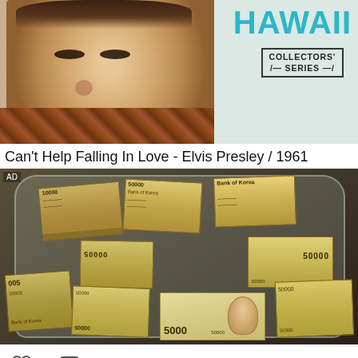[Figure (photo): Top portion of an Elvis Presley album cover for Blue Hawaii, showing Elvis's face and text 'HAWAII COLLECTORS' SERIES']
Can't Help Falling In Love - Elvis Presley / 1961
[Figure (photo): Advertisement photo showing large stacks of Korean 50000 won banknotes bundled in a clear plastic bag on a dark surface]
2
0